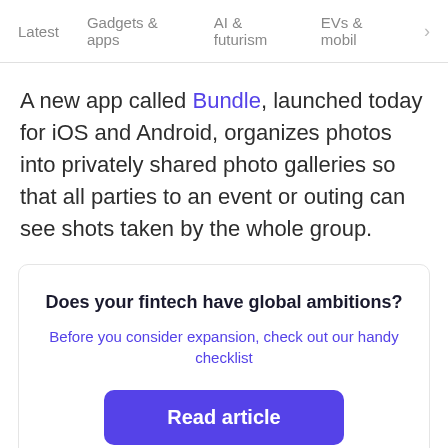Latest   Gadgets & apps   AI & futurism   EVs & mobil  >
A new app called Bundle, launched today for iOS and Android, organizes photos into privately shared photo galleries so that all parties to an event or outing can see shots taken by the whole group.
Does your fintech have global ambitions?
Before you consider expansion, check out our handy checklist
Read article